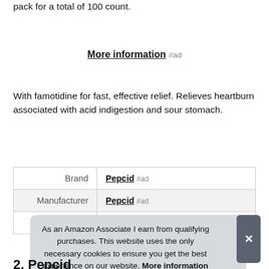pack for a total of 100 count.
More information #ad
With famotidine for fast, effective relief. Relieves heartburn associated with acid indigestion and sour stomach.
|  |  |
| --- | --- |
| Brand | Pepcid #ad |
| Manufacturer | Pepcid #ad |
| Part Number | MCN-PEP-0512 |
As an Amazon Associate I earn from qualifying purchases. This website uses the only necessary cookies to ensure you get the best experience on our website. More information
2. Pepcid